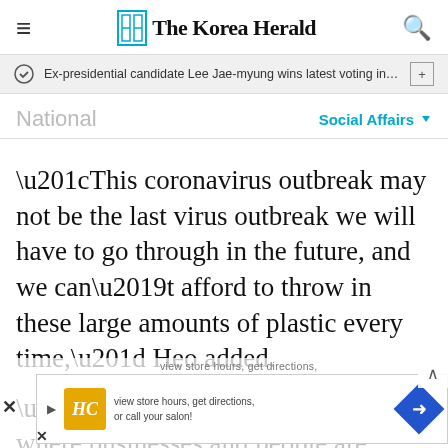The Korea Herald
Ex-presidential candidate Lee Jae-myung wins latest voting in D…
National
Social Affairs
“This coronavirus outbreak may not be the last virus outbreak we will have to go through in the future, and we can’t afford to throw in these large amounts of plastic every time,” Heo added.
“There needs to be a system where businesses and people are supported to divert to eco
[Figure (screenshot): Advertisement overlay with HC logo and directions icon, partially obscuring article text. Includes close button (X), ad collapse button, text 'view store hours, get directions, or call your salon!']